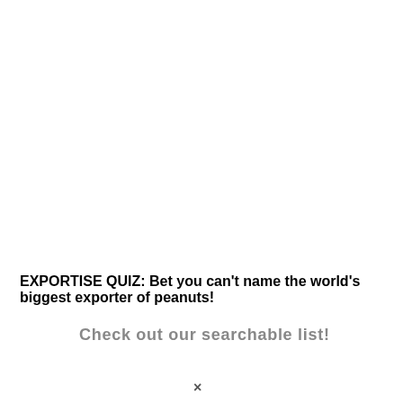EXPORTISE QUIZ: Bet you can't name the world's biggest exporter of peanuts!
Check out our searchable list!